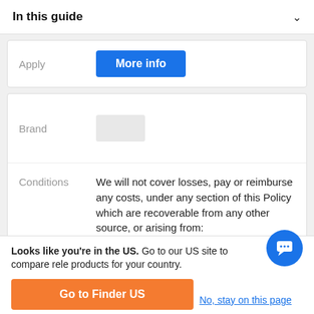In this guide
| Apply |  |
| --- | --- |
| Apply | More info |
| Brand | Conditions | Apply |
| --- | --- | --- |
| Brand | [brand logo placeholder] |  |
| Conditions | We will not cover losses, pay or reimburse any costs, under any section of this Policy which are recoverable from any other source, or arising from: any Pre-existing Medical Conditions |  |
| Apply | [button] |  |
Looks like you're in the US. Go to our US site to compare rele products for your country.
Go to Finder US
No, stay on this page